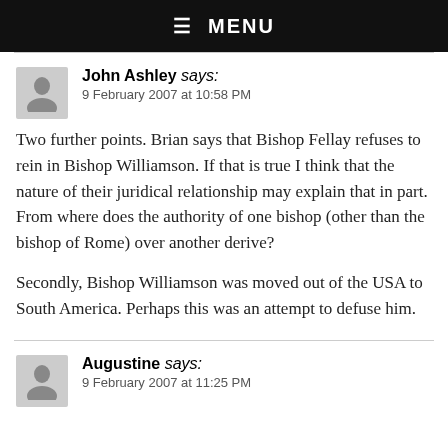☰ MENU
John Ashley says:
9 February 2007 at 10:58 PM
Two further points. Brian says that Bishop Fellay refuses to rein in Bishop Williamson. If that is true I think that the nature of their juridical relationship may explain that in part. From where does the authority of one bishop (other than the bishop of Rome) over another derive?
Secondly, Bishop Williamson was moved out of the USA to South America. Perhaps this was an attempt to defuse him.
Augustine says:
9 February 2007 at 11:25 PM